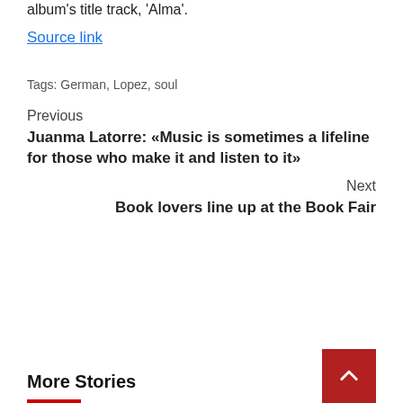album's title track, 'Alma'.
Source link
Tags: German, Lopez, soul
Previous
Juanma Latorre: «Music is sometimes a lifeline for those who make it and listen to it»
Next
Book lovers line up at the Book Fair
More Stories